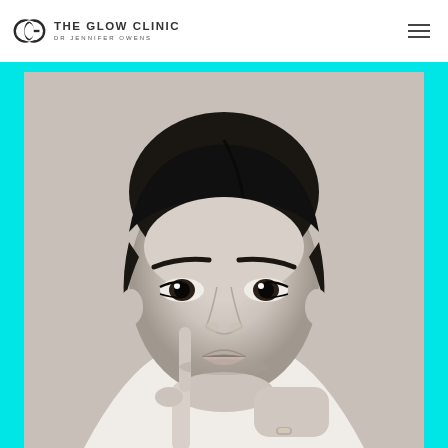THE GLOW CLINIC DR JENNIFER OWENS
[Figure (photo): Black and white portrait photo of a young woman with dark hair pulled back, prominent eyebrows, resting her chin and cheek on her hands with a ring visible on one finger, looking directly at the camera.]